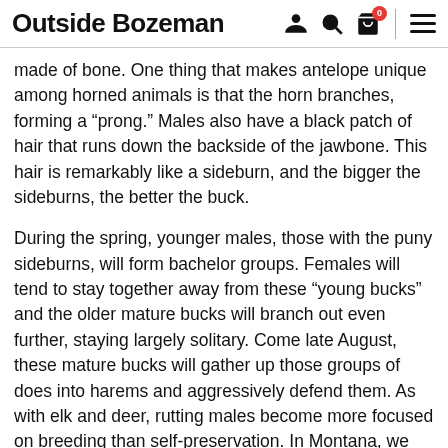Outside Bozeman
made of bone. One thing that makes antelope unique among horned animals is that the horn branches, forming a “prong.” Males also have a black patch of hair that runs down the backside of the jawbone. This hair is remarkably like a sideburn, and the bigger the sideburns, the better the buck.
During the spring, younger males, those with the puny sideburns, will form bachelor groups. Females will tend to stay together away from these “young bucks” and the older mature bucks will branch out even further, staying largely solitary. Come late August, these mature bucks will gather up those groups of does into harems and aggressively defend them. As with elk and deer, rutting males become more focused on breeding than self-preservation. In Montana, we are fortunate enough to have the opportunity